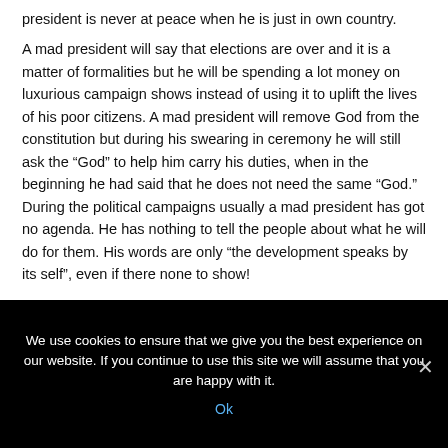president is never at peace when he is just in own country.
A mad president will say that elections are over and it is a matter of formalities but he will be spending a lot money on luxurious campaign shows instead of using it to uplift the lives of his poor citizens. A mad president will remove God from the constitution but during his swearing in ceremony he will still ask the “God” to help him carry his duties, when in the beginning he had said that he does not need the same “God.” During the political campaigns usually a mad president has got no agenda. He has nothing to tell the people about what he will do for them. His words are only “the development speaks by its self”, even if there none to show!
We use cookies to ensure that we give you the best experience on our website. If you continue to use this site we will assume that you are happy with it.
Ok